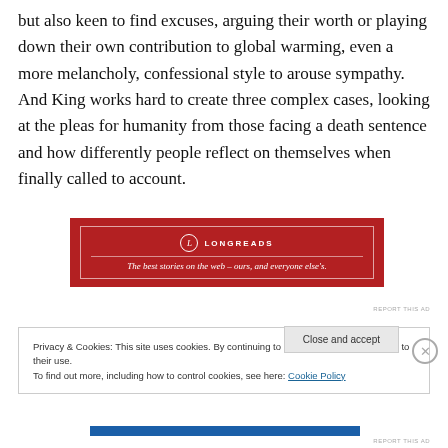but also keen to find excuses, arguing their worth or playing down their own contribution to global warming, even a more melancholy, confessional style to arouse sympathy. And King works hard to create three complex cases, looking at the pleas for humanity from those facing a death sentence and how differently people reflect on themselves when finally called to account.
[Figure (other): Longreads advertisement banner: red background with white border, circular logo with 'L', text 'LONGREADS' and tagline 'The best stories on the web – ours, and everyone else's.']
REPORT THIS AD
Privacy & Cookies: This site uses cookies. By continuing to use this website, you agree to their use.
To find out more, including how to control cookies, see here: Cookie Policy
Close and accept
REPORT THIS AD